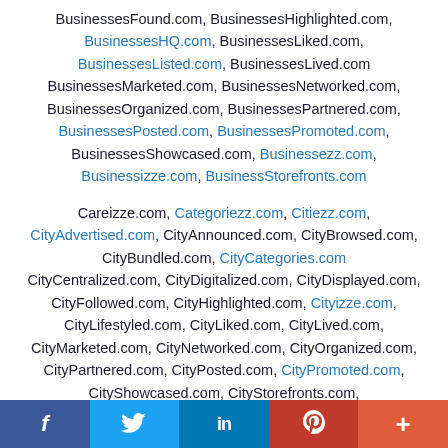BusinessesFound.com, BusinessesHighlighted.com, BusinessesHQ.com, BusinessesLiked.com, BusinessesListed.com, BusinessesLived.com BusinessesMarketed.com, BusinessesNetworked.com, BusinessesOrganized.com, BusinessesPartnered.com, BusinessesPosted.com, BusinessesPromoted.com, BusinessesShowcased.com, Businessezz.com, Businessizze.com, BusinessStorefronts.com
Careizze.com, Categoriezz.com, Citiezz.com, CityAdvertised.com, CityAnnounced.com, CityBrowsed.com, CityBundled.com, CityCategories.com CityCentralized.com, CityDigitalized.com, CityDisplayed.com, CityFollowed.com, CityHighlighted.com, Cityizze.com, CityLifestyled.com, CityLiked.com, CityLived.com, CityMarketed.com, CityNetworked.com, CityOrganized.com, CityPartnered.com, CityPosted.com, CityPromoted.com, CityShowcased.com, CityStorefronts.com,
[Figure (infographic): Social media share bar with Facebook, Twitter, LinkedIn, Pinterest, and More buttons]